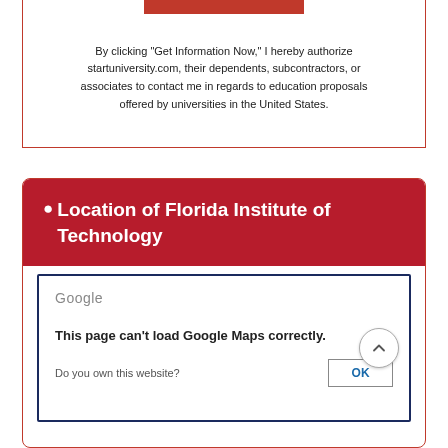By clicking “Get Information Now,” I hereby authorize startuniversity.com, their dependents, subcontractors, or associates to contact me in regards to education proposals offered by universities in the United States.
Location of Florida Institute of Technology
[Figure (screenshot): Google Maps embed showing an error: 'This page can't load Google Maps correctly.' with a 'Do you own this website?' prompt and an OK button.]